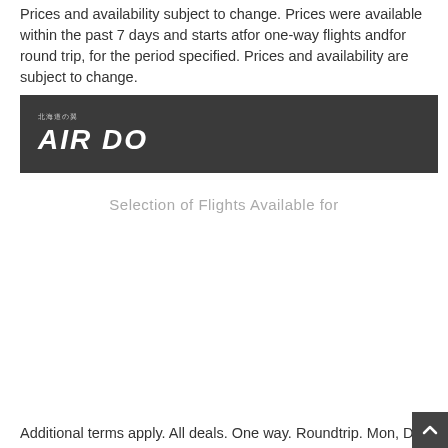Prices and availability subject to change. Prices were available within the past 7 days and starts atfor one-way flights andfor round trip, for the period specified. Prices and availability are subject to change.
[Figure (logo): AIR DO airline logo on dark grey banner background. Small Japanese text above 'AIR DO' in large bold italic white letters.]
Selection of Flights Available for
Additional terms apply. All deals. One way. Roundtrip. Mon, D